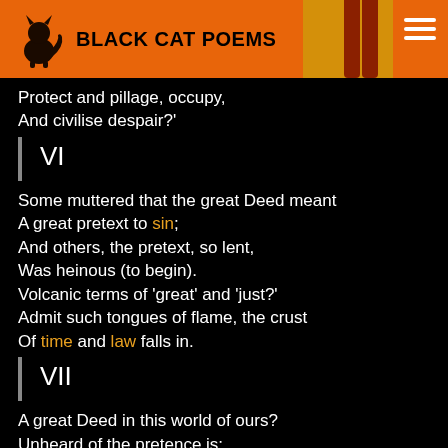BLACK CAT POEMS
Protect and pillage, occupy,
And civilise despair?'
VI
Some muttered that the great Deed meant
A great pretext to sin;
And others, the pretext, so lent,
Was heinous (to begin).
Volcanic terms of 'great' and 'just?'
Admit such tongues of flame, the crust
Of time and law falls in.
VII
A great Deed in this world of ours?
Unheard of the pretence is:
It threatens plainly the great Powers;
Is fatal in all senses.